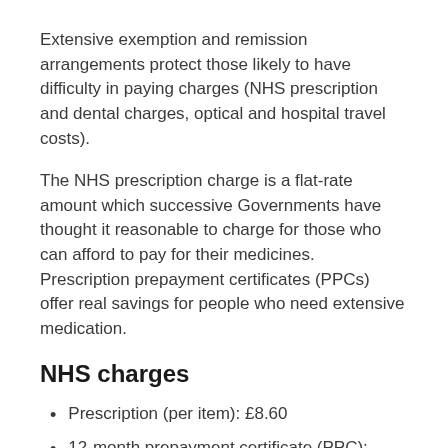Extensive exemption and remission arrangements protect those likely to have difficulty in paying charges (NHS prescription and dental charges, optical and hospital travel costs).
The NHS prescription charge is a flat-rate amount which successive Governments have thought it reasonable to charge for those who can afford to pay for their medicines. Prescription prepayment certificates (PPCs) offer real savings for people who need extensive medication.
NHS charges
Prescription (per item): £8.60
12-month prepayment certificate (PPC):